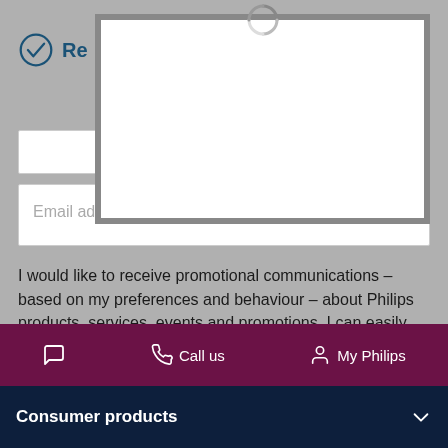[Figure (screenshot): Loading spinner / modal overlay box partially covering the top of the page]
Email address (Required)
I would like to receive promotional communications – based on my preferences and behaviour – about Philips products, services, events and promotions. I can easily unsubscribe at any time!
What does this mean? ›
Submit
Call us   My Philips
Consumer products